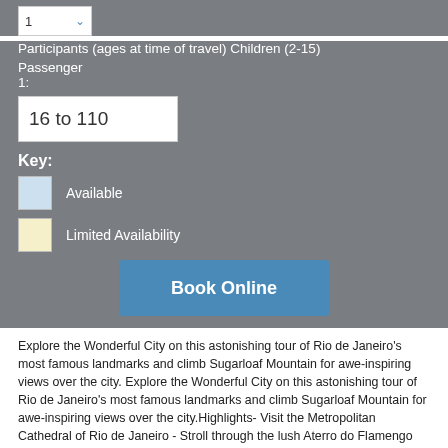1 (dropdown)
Participants (ages at time of travel) Children (2-15)
Passenger 1:
16 to 110
Key:
Available
Limited Availability
Book Online
Explore the Wonderful City on this astonishing tour of Rio de Janeiro's most famous landmarks and climb Sugarloaf Mountain for awe-inspiring views over the city. Explore the Wonderful City on this astonishing tour of Rio de Janeiro's most famous landmarks and climb Sugarloaf Mountain for awe-inspiring views over the city.Highlights- Visit the Metropolitan Cathedral of Rio de Janeiro - Stroll through the lush Aterro do Flamengo Park - Ride the cable car to the top of Sugarloaf Mountain Don´t miss the chance of getting to know the wonders of the city in depth. Rio's beauty is
This website requires the use of cookies. If you continue to use this website we will assume your implied consent to use these cookies. This message will only be displayed once.